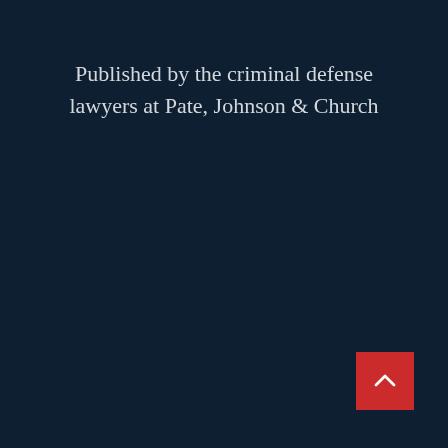Published by the criminal defense lawyers at Pate, Johnson & Church
[Figure (other): Red square button with a white upward-pointing chevron arrow, positioned in the bottom-right corner of the page]